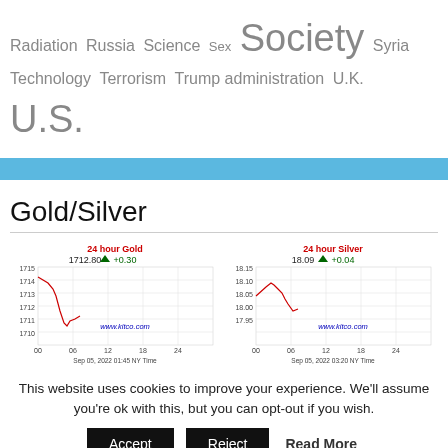Radiation Russia Science Sex Society Syria Technology Terrorism Trump administration U.K. U.S.
[Figure (other): Blue horizontal banner bar]
Gold/Silver
[Figure (line-chart): 24 hour Gold price chart showing 1712.80 +0.30, Sep 05, 2022 01:45 NY Time, www.kitco.com]
[Figure (line-chart): 24 hour Silver price chart showing 18.09 +0.04, Sep 05, 2022 03:20 NY Time, www.kitco.com]
This website uses cookies to improve your experience. We'll assume you're ok with this, but you can opt-out if you wish.
Accept   Reject   Read More
https://infiniteunknown.net/dsgvo/